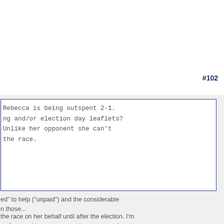#102
Rebecca is being outspent 2-1.
g and/or election day leaflets?
Unlike her opponent she can't
the race.
ed" to help ("unpaid") and the considerable
n those...
the race on her behalf until after the election. I'm
es from and how many people are put on the street
Posted on: 2017/12/4 15:34